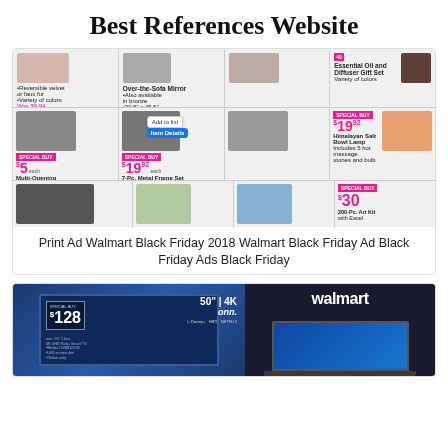Best References Website
[Figure (screenshot): Walmart Black Friday 2018 ad page showing various products including frames, mirrors, essential oil sets, luggage, art supplies with SPECIAL BUY prices including $5, $19.92, $19.92, $30, with an 'Add to list' popup and 'Item Details' button visible.]
Print Ad Walmart Black Friday 2018 Walmart Black Friday Ad Black Friday Ads Black Friday
[Figure (screenshot): Walmart ad showing a 50" 4K TV for $128 SPECIAL BUY (onn. brand, 50" Class 4K UHD Roku Smart TV) with Disney+, HBO, Netflix logos, and a Walmart logo with a laptop on dark blue background.]